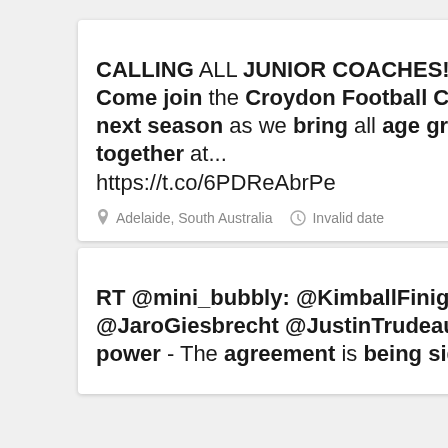10%
CALLING ALL JUNIOR COACHES!! Come join the Croydon Football Club next season as we bring all age groups together at... https://t.co/6PDReAbrPe
Adelaide, South Australia   Invalid date
10%
RT @mini_bubbly: @KimballFinigan @JaroGiesbrecht @JustinTrudeau Wind power - The agreement is being signed in